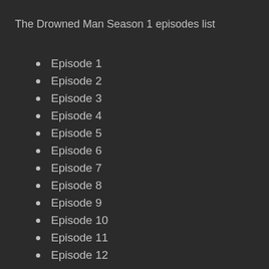The Drowned Man Season 1 episodes list
Episode 1
Episode 2
Episode 3
Episode 4
Episode 5
Episode 6
Episode 7
Episode 8
Episode 9
Episode 10
Episode 11
Episode 12